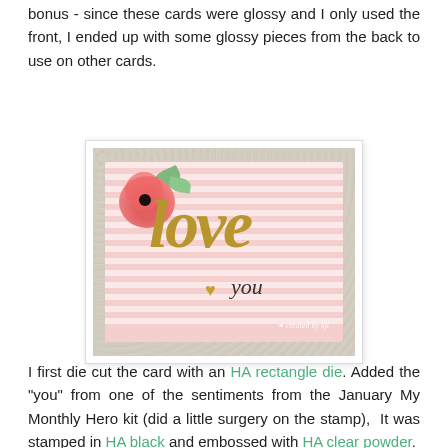bonus - since these cards were glossy and I only used the front, I ended up with some glossy pieces from the back to use on other cards.
[Figure (photo): A handmade greeting card featuring pink and white horizontal stripes, a pink flower with green leaves in the upper left corner, gold script text reading 'love' in the center, smaller italic text 'you' to the right, and a small gold heart. The card is displayed on a white lace background. Watermark reads 'created by kji'.]
I first die cut the card with an HA rectangle die. Added the "you" from one of the sentiments from the January My Monthly Hero kit (did a little surgery on the stamp),  It was stamped in HA black and embossed with HA clear powder.  Stamped a